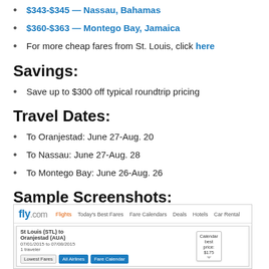$343-$345 — Nassau, Bahamas
$360-$363 — Montego Bay, Jamaica
For more cheap fares from St. Louis, click here
Savings:
Save up to $300 off typical roundtrip pricing
Travel Dates:
To Oranjestad: June 27-Aug. 20
To Nassau: June 27-Aug. 28
To Montego Bay: June 26-Aug. 26
Sample Screenshots:
[Figure (screenshot): Screenshot of fly.com showing St. Louis (STL) to Oranjestad (AUA) flight search with calendar best price tooltip showing $175]